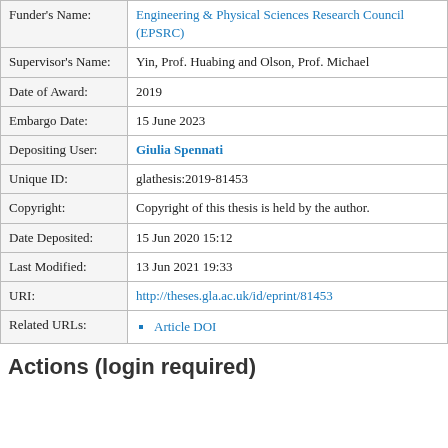| Field | Value |
| --- | --- |
| Funder's Name: | Engineering & Physical Sciences Research Council (EPSRC) |
| Supervisor's Name: | Yin, Prof. Huabing and Olson, Prof. Michael |
| Date of Award: | 2019 |
| Embargo Date: | 15 June 2023 |
| Depositing User: | Giulia Spennati |
| Unique ID: | glathesis:2019-81453 |
| Copyright: | Copyright of this thesis is held by the author. |
| Date Deposited: | 15 Jun 2020 15:12 |
| Last Modified: | 13 Jun 2021 19:33 |
| URI: | http://theses.gla.ac.uk/id/eprint/81453 |
| Related URLs: | Article DOI |
Actions (login required)